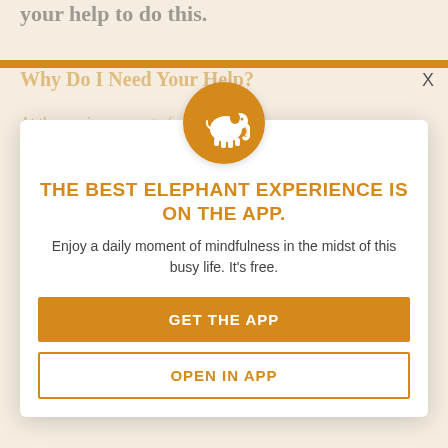your help to do this.
Why Do I Need Your Help?
At the precise moment of a great need for financial and ma... I have little. Alas, no, I do not have health insurance! I have exhausted my own savings in partially... medical bills,... I'll start out by... Gma. But I would like to establish this as a place of hope, from where I can... nately begin speaking about what I have recently written...
X
[Figure (logo): Orange circle with white elephant silhouette logo]
THE BEST ELEPHANT EXPERIENCE IS ON THE APP.
Enjoy a daily moment of mindfulness in the midst of this busy life. It's free.
GET THE APP
OPEN IN APP